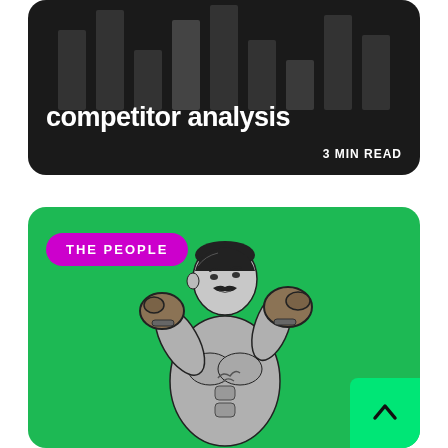[Figure (infographic): Dark rounded card with bar chart graphic in background, title 'competitor analysis' in bold white text, and '3 MIN READ' label at bottom right.]
3 MIN READ
[Figure (infographic): Green rounded card with magenta 'THE PEOPLE' badge and a vintage-style illustration of a mustachioed bare-knuckle boxer in a fighting stance. A bright green up-arrow button in the bottom right corner.]